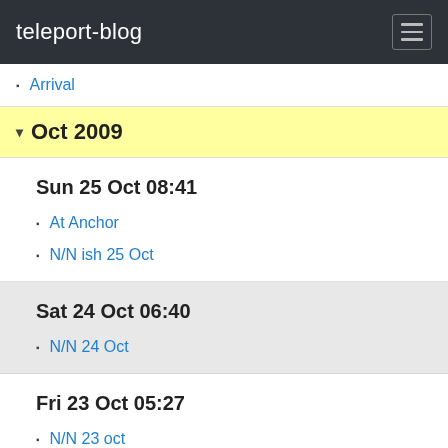teleport-blog
Arrival
Oct 2009
Sun 25 Oct 08:41
At Anchor
N/N ish 25 Oct
Sat 24 Oct 06:40
N/N 24 Oct
Fri 23 Oct 05:27
N/N 23 oct
Thu 22 Oct 01:39
N/N 22nd Oct
Wed 21 Oct 02:31
N/N 21 Oct
Tue 20 Oct 01:01
N/N 20th